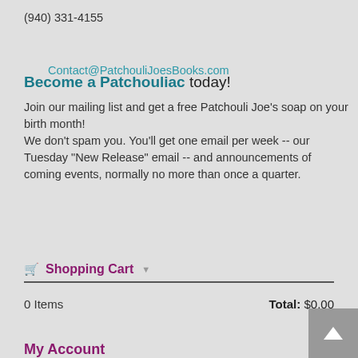(940) 331-4155
Contact@PatchouliJoesBooks.com
Become a Patchouliac today!
Join our mailing list and get a free Patchouli Joe's soap on your birth month!
We don't spam you. You'll get one email per week -- our Tuesday "New Release" email -- and announcements of coming events, normally no more than once a quarter.
Shopping Cart
0 Items    Total: $0.00
My Account